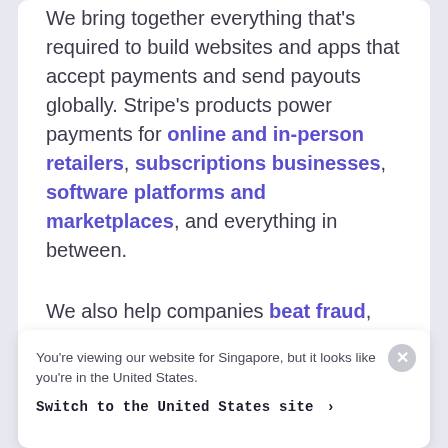We bring together everything that's required to build websites and apps that accept payments and send payouts globally. Stripe's products power payments for online and in-person retailers, subscriptions businesses, software platforms and marketplaces, and everything in between.
We also help companies beat fraud, send invoices, issue virtual and physical cards, get financing, manage business spend, and much more.
You're viewing our website for Singapore, but it looks like you're in the United States. Switch to the United States site ›